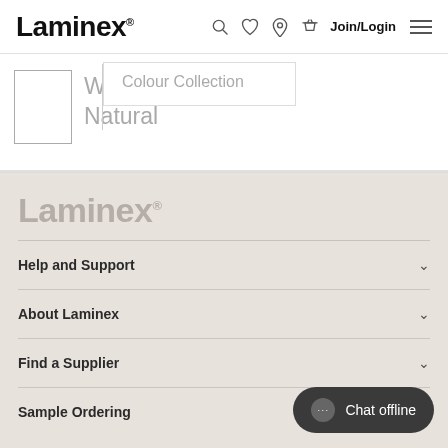Laminex
White Natural
Colour Collection
[Figure (logo): Laminex logo in large grey text in footer area]
Help and Support
About Laminex
Find a Supplier
Sample Ordering
Chat offline